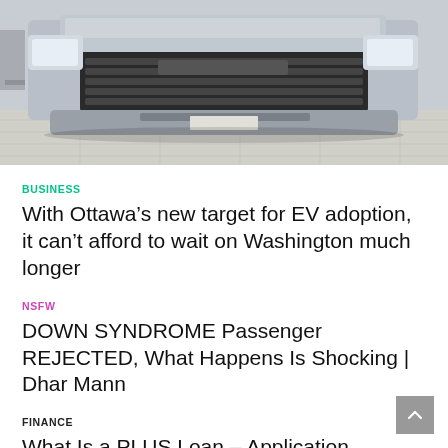[Figure (photo): Front-facing view of a silver pickup truck, showing the grille and headlights, photographed outdoors on a paved surface.]
BUSINESS
With Ottawa’s new target for EV adoption, it can’t afford to wait on Washington much longer
NSFW
DOWN SYNDROME Passenger REJECTED, What Happens Is Shocking | Dhar Mann
FINANCE
What Is a PLUS Loan – Application Requirements for Parents & Graduates